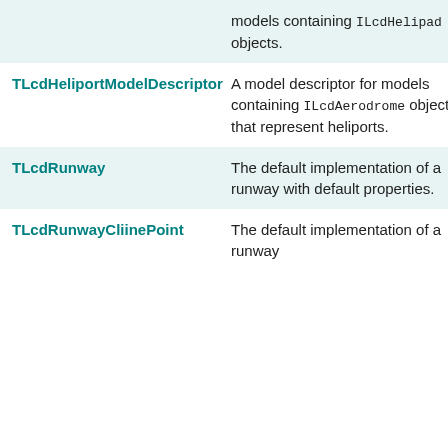| Class | Description |
| --- | --- |
|  | descriptor for models containing ILcdHelipad objects. |
| TLcdHeliportModelDescriptor | A model descriptor for models containing ILcdAerodrome objects that represent heliports. |
| TLcdRunway | The default implementation of a runway with default properties. |
| TLcdRunwayCliinePoint | The default implementation of a runway |